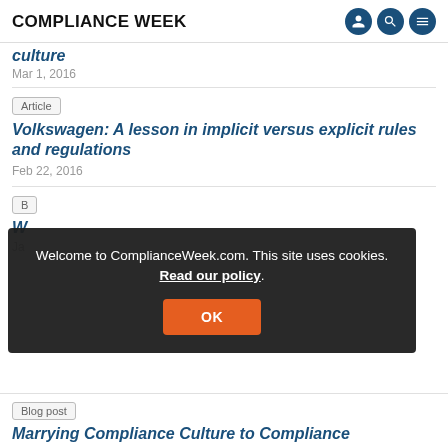COMPLIANCE WEEK
culture
Mar 1, 2016
Article
Volkswagen: A lesson in implicit versus explicit rules and regulations
Feb 22, 2016
B...
W...
Ja...
Welcome to ComplianceWeek.com. This site uses cookies. Read our policy.
OK
Blog post
Marrying Compliance Culture to Compliance